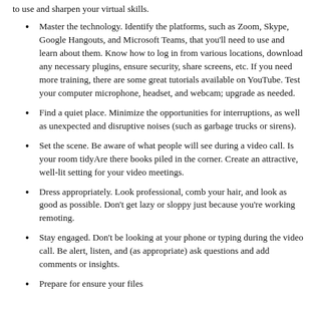to use and sharpen your virtual skills.
Master the technology. Identify the platforms, such as Zoom, Skype, Google Hangouts, and Microsoft Teams, that you'll need to use and learn about them. Know how to log in from various locations, download any necessary plugins, ensure security, share screens, etc. If you need more training, there are some great tutorials available on YouTube. Test your computer microphone, headset, and webcam; upgrade as needed.
Find a quiet place. Minimize the opportunities for interruptions, as well as unexpected and disruptive noises (such as garbage trucks or sirens).
Set the scene. Be aware of what people will see during a video call. Is your room tidyAre there books piled in the corner. Create an attractive, well-lit setting for your video meetings.
Dress appropriately. Look professional, comb your hair, and look as good as possible. Don't get lazy or sloppy just because you're working remoting.
Stay engaged. Don't be looking at your phone or typing during the video call. Be alert, listen, and (as appropriate) ask questions and add comments or insights.
Prepare for ensure your files are ready for your attendees...